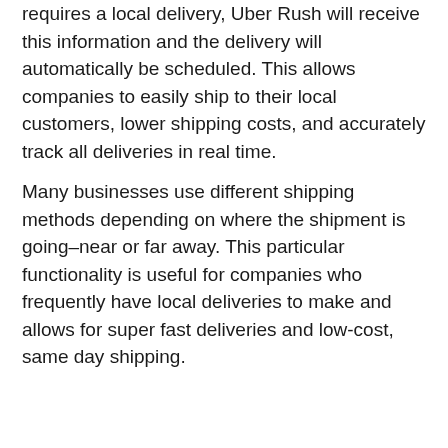requires a local delivery, Uber Rush will receive this information and the delivery will automatically be scheduled. This allows companies to easily ship to their local customers, lower shipping costs, and accurately track all deliveries in real time.
Many businesses use different shipping methods depending on where the shipment is going–near or far away. This particular functionality is useful for companies who frequently have local deliveries to make and allows for super fast deliveries and low-cost, same day shipping.